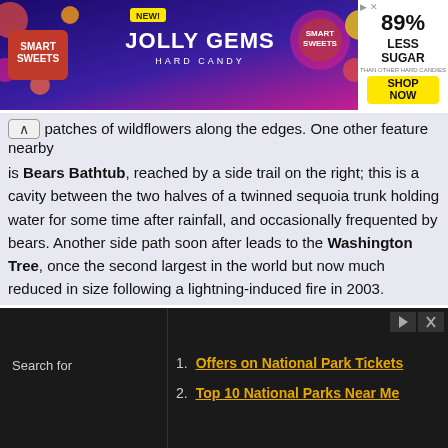[Figure (illustration): Smart Sweets Jolly Gems Hard Candy advertisement banner. Shows candy product, NEW badge, '89% Less Sugar than other hard candies' claim, and SHOP NOW button.]
patches of wildflowers along the edges. One other feature nearby is Bears Bathtub, reached by a side trail on the right; this is a cavity between the two halves of a twinned sequoia trunk holding water for some time after rainfall, and occasionally frequented by bears. Another side path soon after leads to the Washington Tree, once the second largest in the world but now much reduced in size following a lightning-induced fire in 2003.
[Figure (photo): Photograph of tall sequoia trees in a forest, looking upward through the canopy with light filtering through.]
Search for
1. Offers on National Park Tickets
2. Top 10 National Parks Near Me
[Figure (photo): Partial photograph visible at bottom of page, appears to show a national park scene.]